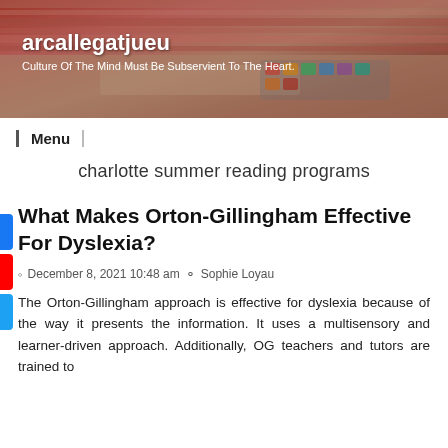[Figure (photo): Header image of a person's hands doing crafts/art with colored pencils and watercolor palette on a table, with red/pink striped fabric visible]
arcallegatjueu
Culture Of The Mind Must Be Subservient To The Heart.
Menu
charlotte summer reading programs
What Makes Orton-Gillingham Effective For Dyslexia?
December 8, 2021 10:48 am  Sophie Loyau
The Orton-Gillingham approach is effective for dyslexia because of the way it presents the information. It uses a multisensory and learner-driven approach. Additionally, OG teachers and tutors are trained to